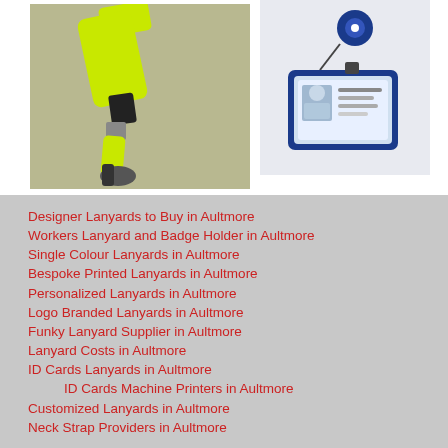[Figure (photo): Yellow/neon green lanyard with black clip and metal attachment hardware on a light background]
[Figure (photo): Blue retractable badge reel with a blue ID card holder containing a sample ID card with a person's photo]
Designer Lanyards to Buy in Aultmore
Workers Lanyard and Badge Holder in Aultmore
Single Colour Lanyards in Aultmore
Bespoke Printed Lanyards in Aultmore
Personalized Lanyards in Aultmore
Logo Branded Lanyards in Aultmore
Funky Lanyard Supplier in Aultmore
Lanyard Costs in Aultmore
ID Cards Lanyards in Aultmore
ID Cards Machine Printers in Aultmore
Customized Lanyards in Aultmore
Neck Strap Providers in Aultmore